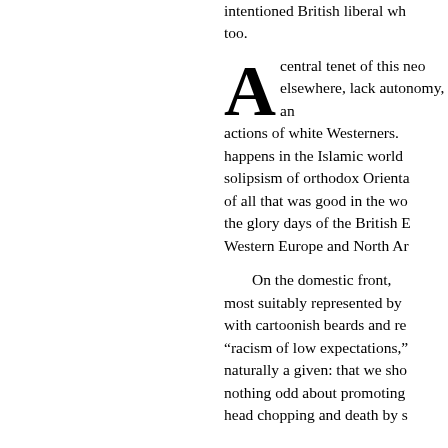intentioned British liberal wh... too.
A central tenet of this neo... elsewhere, lack autonomy, an... actions of white Westerners. ... happens in the Islamic world ... solipsism of orthodox Orienta... of all that was good in the wo... the glory days of the British E... Western Europe and North Ar...
On the domestic front, ... most suitably represented by ... with cartoonish beards and re... "racism of low expectations,"... naturally a given: that we sho... nothing odd about promoting ... head chopping and death by s...